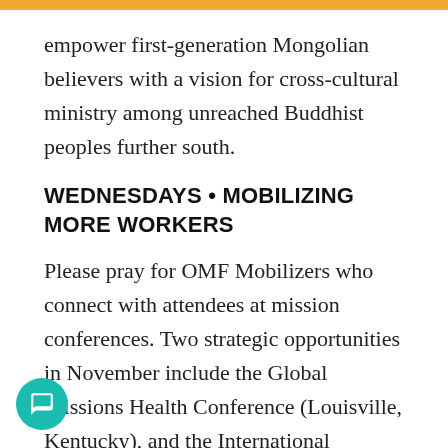empower first-generation Mongolian believers with a vision for cross-cultural ministry among unreached Buddhist peoples further south.
WEDNESDAYS • MOBILIZING MORE WORKERS
Please pray for OMF Mobilizers who connect with attendees at mission conferences. Two strategic opportunities in November include the Global Missions Health Conference (Louisville, Kentucky), and the International Conference on Missions (Kansas City). Pray for strong